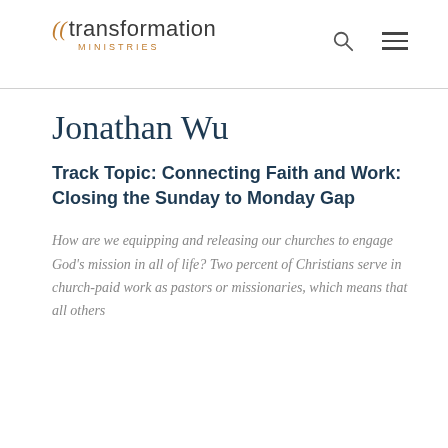transformation MINISTRIES
Jonathan Wu
Track Topic: Connecting Faith and Work: Closing the Sunday to Monday Gap
How are we equipping and releasing our churches to engage God’s mission in all of life? Two percent of Christians serve in church-paid work as pastors or missionaries, which means that all others